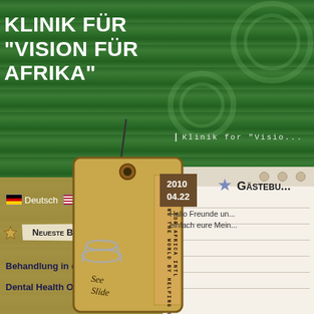Klinik für "Vision für Afrika"
Klinik for "Visio..."
[Figure (illustration): Luggage tag with tape strip reading VISION FOR AFRICA INTL WORLD BY HELPING CHILDREN, with paperclip and handwriting, on green wood background]
Deutsch Englisch
Neueste Beiträge
Behandlung in der Klinik
Dental Health Officer
2010 04.22
Gästebu...
Hallo Freunde und... einfach eure Mein...